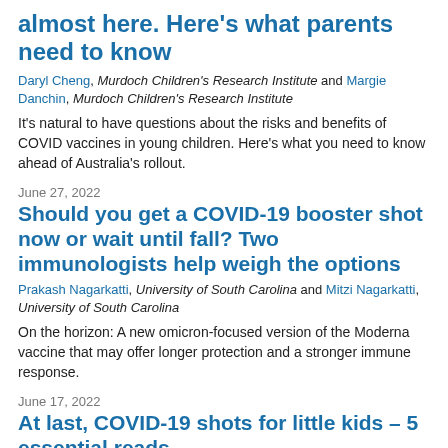almost here. Here's what parents need to know
Daryl Cheng, Murdoch Children's Research Institute and Margie Danchin, Murdoch Children's Research Institute
It's natural to have questions about the risks and benefits of COVID vaccines in young children. Here's what you need to know ahead of Australia's rollout.
June 27, 2022
Should you get a COVID-19 booster shot now or wait until fall? Two immunologists help weigh the options
Prakash Nagarkatti, University of South Carolina and Mitzi Nagarkatti, University of South Carolina
On the horizon: A new omicron-focused version of the Moderna vaccine that may offer longer protection and a stronger immune response.
June 17, 2022
At last, COVID-19 shots for little kids – 5 essential reads
Amanda Mascarelli, The Conversation
The FDA's authorization of COVID-19 shots for children ages 6 months to 4 years will bring relief for millions of parents. Pending CDC endorsement, shots for this group will be available within days.